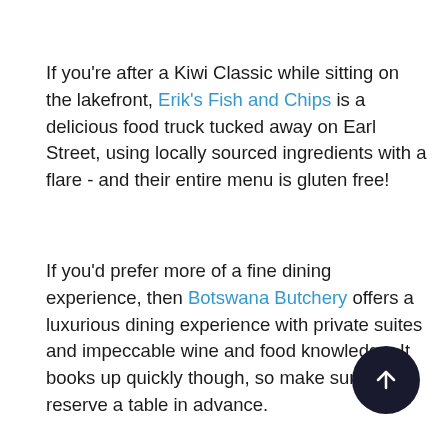If you're after a Kiwi Classic while sitting on the lakefront, Erik's Fish and Chips is a delicious food truck tucked away on Earl Street, using locally sourced ingredients with a flare - and their entire menu is gluten free!
If you'd prefer more of a fine dining experience, then Botswana Butchery offers a luxurious dining experience with private suites and impeccable wine and food knowledge. It books up quickly though, so make sure you reserve a table in advance.
Blue Kanu is another upmarket restaurant that is a must-try during your stay in Queenstown. A mix of Pacific and Asian style, they have taken the best of two cultures and flavours to create 'Polynasia' - an exotic experience that you won't find anywhere